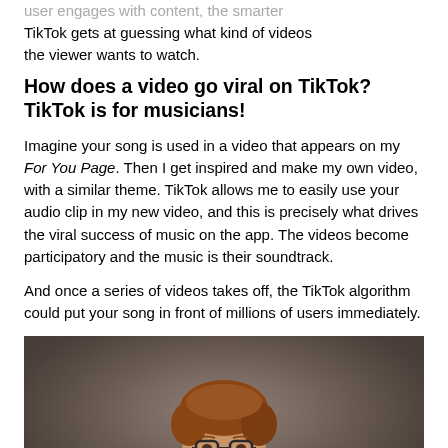user engages with content, the smarter TikTok gets at guessing what kind of videos the viewer wants to watch.
How does a video go viral on TikTok? TikTok is for musicians!
Imagine your song is used in a video that appears on my For You Page. Then I get inspired and make my own video, with a similar theme. TikTok allows me to easily use your audio clip in my new video, and this is precisely what drives the viral success of music on the app. The videos become participatory and the music is their soundtrack.
And once a series of videos takes off, the TikTok algorithm could put your song in front of millions of users immediately.
[Figure (photo): Portrait photo of a young man with reddish-brown hair and glasses, wearing a dark hoodie, seated with arms crossed, against a dark brownish-grey background.]